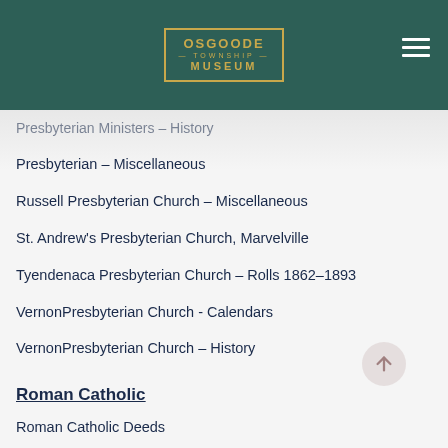Osgoode Township Museum
Presbyterian Ministers – History
Presbyterian – Miscellaneous
Russell Presbyterian Church – Miscellaneous
St. Andrew's Presbyterian Church, Marvelville
Tyendenaca Presbyterian Church – Rolls 1862–1893
VernonPresbyterian Church - Calendars
VernonPresbyterian Church – History
Roman Catholic
Roman Catholic Deeds
Roman Catholic Miscellaneous